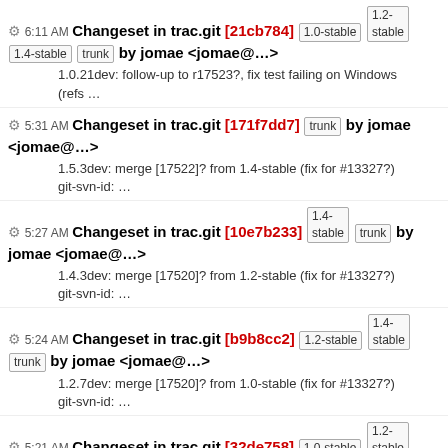6:11 AM Changeset in trac.git [21cb784] 1.0-stable 1.2-stable 1.4-stable trunk by jomae <jomae@...> 1.0.21dev: follow-up to r17523?, fix test failing on Windows (refs ...
5:31 AM Changeset in trac.git [171f7dd7] trunk by jomae <jomae@...> 1.5.3dev: merge [17522]? from 1.4-stable (fix for #13327?) git-svn-id: ...
5:27 AM Changeset in trac.git [10e7b233] 1.4-stable trunk by jomae <jomae@...> 1.4.3dev: merge [17520]? from 1.2-stable (fix for #13327?) git-svn-id: ...
5:24 AM Changeset in trac.git [b9b8cc2] 1.2-stable 1.4-stable trunk by jomae <jomae@...> 1.2.7dev: merge [17520]? from 1.0-stable (fix for #13327?) git-svn-id: ...
5:21 AM Changeset in trac.git [32de758] 1.0-stable 1.2-stable 1.4-stable trunk by jomae <jomae@...> 1.0.21dev: PyGIT.cat_file() handles short reads from .pipe (close...